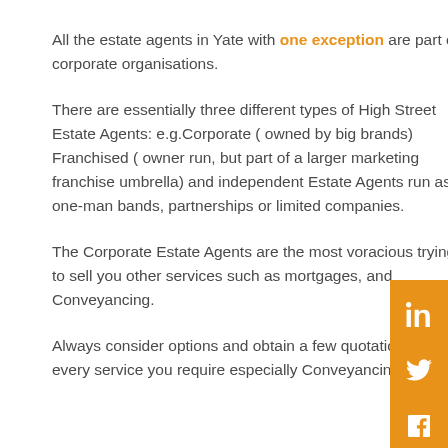All the estate agents in Yate with one exception are part of corporate organisations.
There are essentially three different types of High Street Estate Agents: e.g.Corporate ( owned by big brands) Franchised ( owner run, but part of a larger marketing franchise umbrella) and independent Estate Agents run as one-man bands, partnerships or limited companies.
The Corporate Estate Agents are the most voracious trying to sell you other services such as mortgages, and Conveyancing.
Always consider options and obtain a few quotations for every service you require especially Conveyancing,